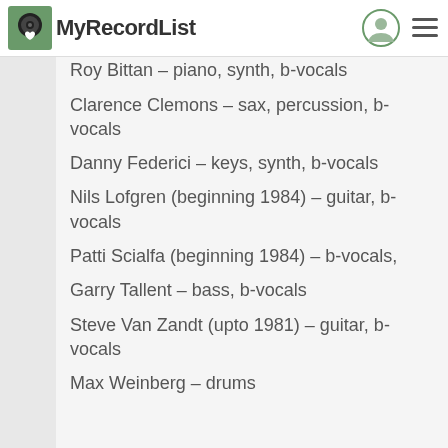MyRecordList
PERSONNEL:
Bruce Springsteen – vocals, guitar, harmonica
Roy Bittan – piano, synth, b-vocals
Clarence Clemons – sax, percussion, b-vocals
Danny Federici – keys, synth, b-vocals
Nils Lofgren (beginning 1984) – guitar, b-vocals
Patti Scialfa (beginning 1984) – b-vocals,
Garry Tallent – bass, b-vocals
Steve Van Zandt (upto 1981) – guitar, b-vocals
Max Weinberg – drums